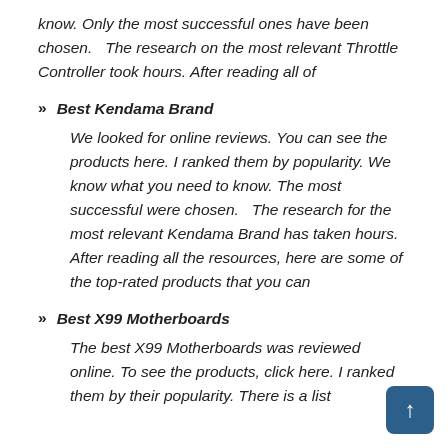know. Only the most successful ones have been chosen.   The research on the most relevant Throttle Controller took hours. After reading all of
Best Kendama Brand
We looked for online reviews. You can see the products here. I ranked them by popularity. We know what you need to know. The most successful were chosen.   The research for the most relevant Kendama Brand has taken hours. After reading all the resources, here are some of the top-rated products that you can
Best X99 Motherboards
The best X99 Motherboards was reviewed online. To see the products, click here. I ranked them by their popularity. There is a list